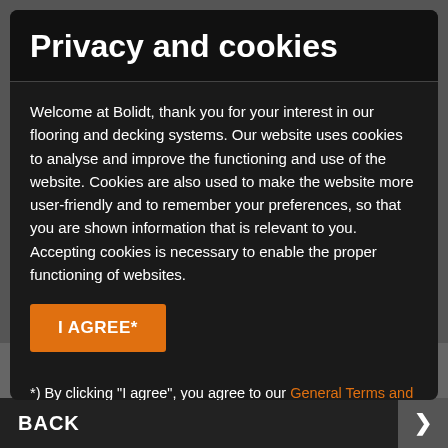Privacy and cookies
Welcome at Bolidt, thank you for your interest in our flooring and decking systems. Our website uses cookies to analyse and improve the functioning and use of the website. Cookies are also used to make the website more user-friendly and to remember your preferences, so that you are shown information that is relevant to you. Accepting cookies is necessary to enable the proper functioning of websites.
I AGREE*
*) By clicking "I agree", you agree to our General Terms and Conditions, our Disclaimer and our Privacy and Cookie Statement.
Sea bags are completely created from sails collected in the local community. The raw materials are extremely resilient which makes for a durable design that has bags of style. Each bag is